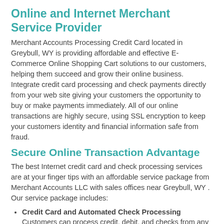Online and Internet Merchant Service Provider
Merchant Accounts Processing Credit Card located in Greybull, WY is providing affordable and effective E-Commerce Online Shopping Cart solutions to our customers, helping them succeed and grow their online business. Integrate credit card processing and check payments directly from your web site giving your customers the opportunity to buy or make payments immediately. All of our online transactions are highly secure, using SSL encryption to keep your customers identity and financial information safe from fraud.
Secure Online Transaction Advantage
The best Internet credit card and check processing services are at your finger tips with an affordable service package from Merchant Accounts LLC with sales offices near Greybull, WY . Our service package includes:
Credit Card and Automated Check Processing — Customers can process credit, debit, and checks from any computer from home or the office with a user friendly online format that is user name and password protected.
Accepting All Major Credit Cards Customers will enjoy the option of payment by American Express, Visa, Master Card,